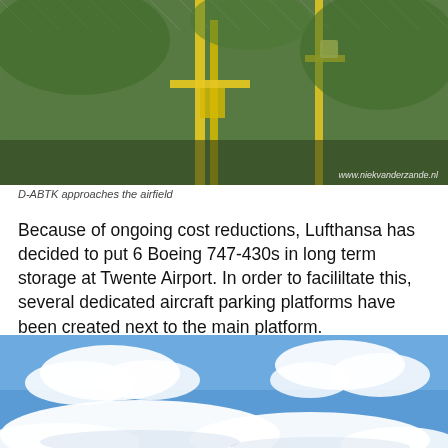[Figure (photo): Photo of yellow airport equipment/infrastructure visible through a chain-link fence with green trees in the background. Watermark 'www.niekvanderzande.nl' in bottom right.]
D-ABTK approaches the airfield
Because of ongoing cost reductions, Lufthansa has decided to put 6 Boeing 747-430s in long term storage at Twente Airport. In order to facililtate this, several dedicated aircraft parking platforms have been created next to the main platform.
[Figure (photo): Photo of blue sky with white clouds, partial view of aircraft or airfield structure at bottom.]